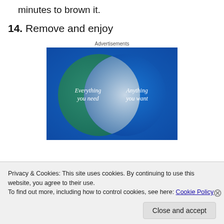minutes to brown it.
14. Remove and enjoy
[Figure (infographic): Venn diagram advertisement with two overlapping circles on blue-green gradient background. Left circle (teal/green) labeled 'Everything you need', right circle (blue) labeled 'Anything you want', overlapping region is light grey/white.]
Privacy & Cookies: This site uses cookies. By continuing to use this website, you agree to their use.
To find out more, including how to control cookies, see here: Cookie Policy